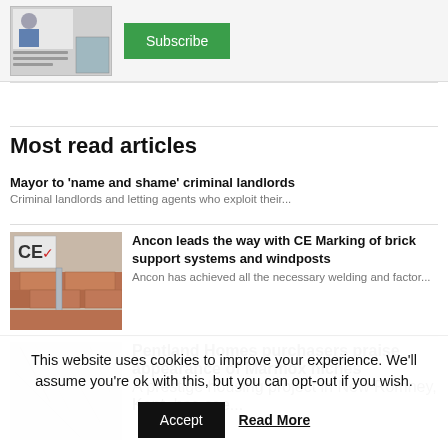[Figure (screenshot): Newsletter thumbnail showing a man in a suit and a construction image]
[Figure (other): Green Subscribe button]
Most read articles
Mayor to ‘name and shame’ criminal landlords
Criminal landlords and letting agents who exploit their...
[Figure (photo): CE marked brick support system product photo]
Ancon leads the way with CE Marking of brick support systems and windposts
Ancon has achieved all the necessary welding and factor...
[Figure (photo): White marble tile product photo]
Pentland Homes purchasers praise appearance of Marmox niches
A prestige housing project in New Romney, Kent, has see...
This website uses cookies to improve your experience. We’ll assume you’re ok with this, but you can opt-out if you wish.